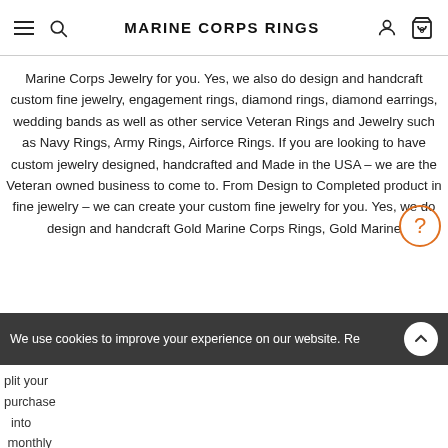MARINE CORPS RINGS
Marine Corps Jewelry for you. Yes, we also do design and handcraft custom fine jewelry, engagement rings, diamond rings, diamond earrings, wedding bands as well as other service Veteran Rings and Jewelry such as Navy Rings, Army Rings, Airforce Rings. If you are looking to have custom jewelry designed, handcrafted and Made in the USA – we are the Veteran owned business to come to. From Design to Completed product in fine jewelry – we can create your custom fine jewelry for you. Yes, we do design and handcraft Gold Marine Corps Rings, Gold Marine
We use cookies to improve your experience on our website. Re...
Split your purchase into monthly installments with Shop Pay Learn more
14K Yellow Gold / 18 – $2,253.99
ADD TO CART